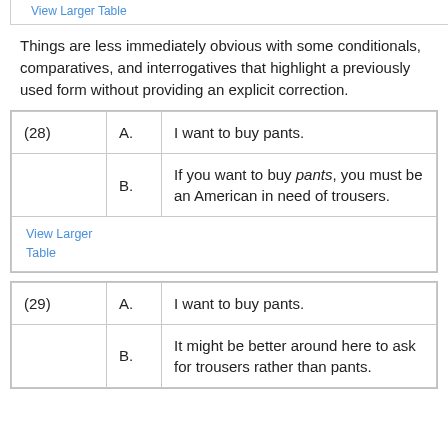View Larger Table
Things are less immediately obvious with some conditionals, comparatives, and interrogatives that highlight a previously used form without providing an explicit correction.
| (28) | A. | I want to buy pants. |
|  | B. | If you want to buy pants, you must be an American in need of trousers. |
|  |  | View Larger Table |
| (29) | A. | I want to buy pants. |
|  | B. | It might be better around here to ask for trousers rather than pants. |